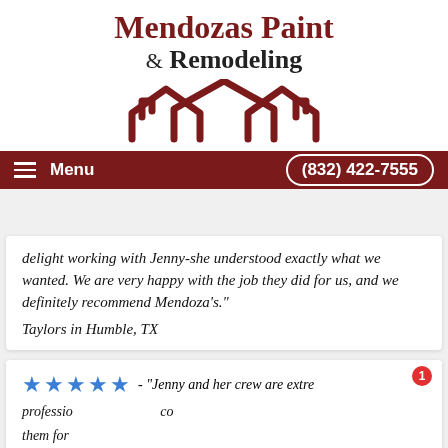Mendozas Paint & Remodeling
[Figure (logo): House outline logo with dark red color, showing stylized roof lines of three connected houses]
Menu   (832) 422-7555
delight working with Jenny-she understood exactly what we wanted. We are very happy with the job they did for us, and we definitely recommend Mendoza's."
Taylors in Humble, TX
★★★★★ - "Jenny and her crew are extremely professional... [co... them for...
Robin Clinton in Conroe, TX
Get a Fast Free Quote Today!